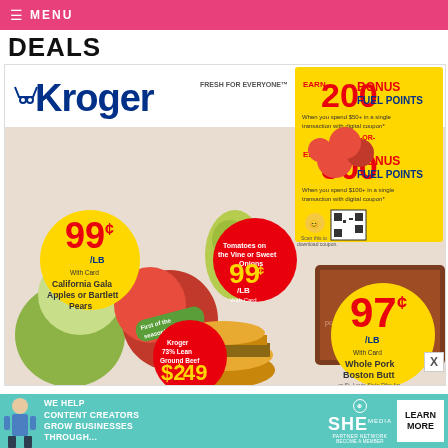≡ MENU
DEALS
[Figure (photo): Kroger weekly ad flyer showing fresh produce (California Gala Apples or Bartlett Pears 99¢/LB, Tomatoes on the Vine or Sweet Onions 99¢/LB), Whole Pork Boston Butt 97¢/LB, Kroger 73% Lean Ground Beef $2.49, and a bonus fuel points offer (200 BONUS FUEL POINTS when you spend $50+ or 500 BONUS FUEL POINTS when you spend $100+ with digital coupon).]
WE HELP CONTENT CREATORS GROW BUSINESSES THROUGH... ⊕ SHE MEDIA PARTNER NETWORK BECOME A MEMBER LEARN MORE